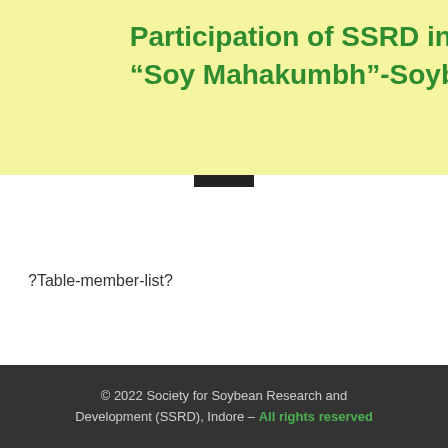Participation of SSRD in “Soy Mahakumbh”-Soyb
?Table-member-list?
© 2022 Society for Soybean Research and Development (SSRD), Indore – All rights reserved